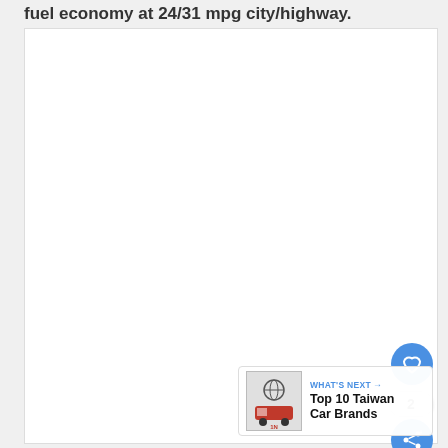fuel economy at 24/31 mpg city/highway.
[Figure (photo): Large white/blank image area occupying most of the page, representing a car photo placeholder]
[Figure (infographic): UI overlay with heart/like button (blue circle with heart icon), count of 2, share button (blue circle with share icon), and a 'WHAT'S NEXT' banner showing 'Top 10 Taiwan Car Brands' with a thumbnail image]